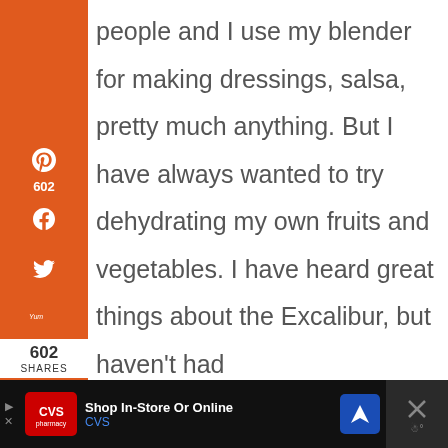[Figure (screenshot): Orange sidebar with social share icons: Pinterest (602), Facebook, Twitter, Yummly, email, print. Bottom shows 602 SHARES.]
people and I use my blender for making dressings, salsa, pretty much anything. But I have always wanted to try dehydrating my own fruits and vegetables. I have heard great things about the Excalibur, but haven't had
[Figure (other): Share button icon (circular white button with share symbol)]
[Figure (other): CVS advertisement bar at bottom: Shop In-Store Or Online, CVS]